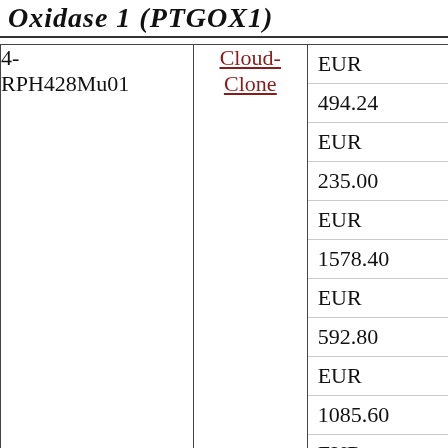Oxidase 1 (PTGOX1)
| ID | Brand | Price | Quantity |
| --- | --- | --- | --- |
| 4-RPH428Mu01 | Cloud-Clone | EUR 494.24 |  |
|  |  | EUR 235.00 | 100 ug |
|  |  | EUR 1578.40 | 10ug |
|  |  | EUR 592.80 | 1 mg |
|  |  | EUR 1085.60 | 200 ug |
|  |  | EUR 394.00 | 500 ug |
|  |  | EUR | 50ug |
|  |  | EUR | 5 mg |